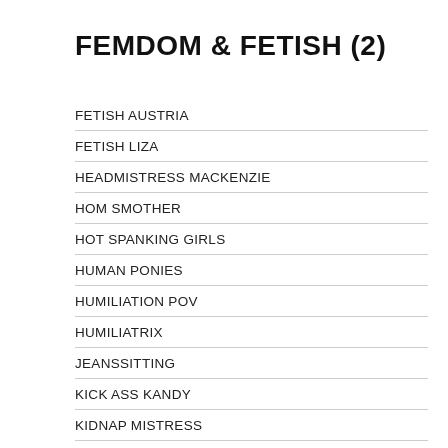FEMDOM & FETISH (2)
FETISH AUSTRIA
FETISH LIZA
HEADMISTRESS MACKENZIE
HOM SMOTHER
HOT SPANKING GIRLS
HUMAN PONIES
HUMILIATION POV
HUMILIATRIX
JEANSSITTING
KICK ASS KANDY
KIDNAP MISTRESS
KINKY MISTRESSES